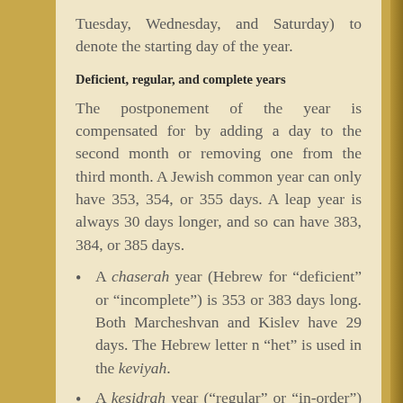Tuesday, Wednesday, and Saturday) to denote the starting day of the year.
Deficient, regular, and complete years
The postponement of the year is compensated for by adding a day to the second month or removing one from the third month. A Jewish common year can only have 353, 354, or 355 days. A leap year is always 30 days longer, and so can have 383, 384, or 385 days.
A chaserah year (Hebrew for “deficient” or “incomplete”) is 353 or 383 days long. Both Marcheshvan and Kislev have 29 days. The Hebrew letter n “het” is used in the keviyah.
A kesidrah year (“regular” or “in-order”) is 354 or 384 days long. Marcheshvan has 29 days while Kislev has 30 days. The